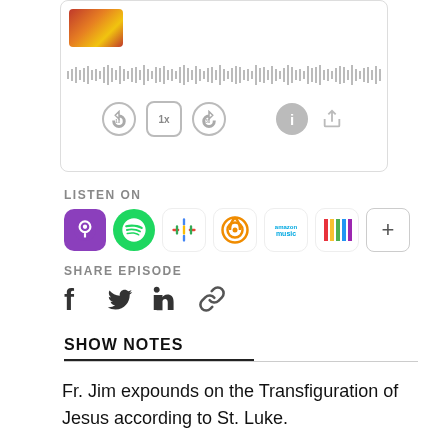[Figure (screenshot): Podcast audio player widget with waveform and playback controls (rewind 10s, 1x speed, skip 30s, info, share)]
LISTEN ON
[Figure (infographic): Row of podcast platform icons: Apple Podcasts, Spotify, Google Podcasts, Overcast, Amazon Music, iHeartRadio, plus button]
SHARE EPISODE
[Figure (infographic): Share icons: Facebook, Twitter, LinkedIn, link/chain]
SHOW NOTES
Fr. Jim expounds on the Transfiguration of Jesus according to St. Luke.